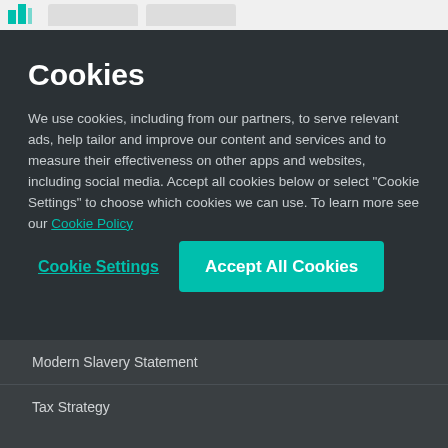Cookies
We use cookies, including from our partners, to serve relevant ads, help tailor and improve our content and services and to measure their effectiveness on other apps and websites, including social media. Accept all cookies below or select “Cookie Settings” to choose which cookies we can use. To learn more see our Cookie Policy
Cookie Settings
Accept All Cookies
Modern Slavery Statement
Tax Strategy